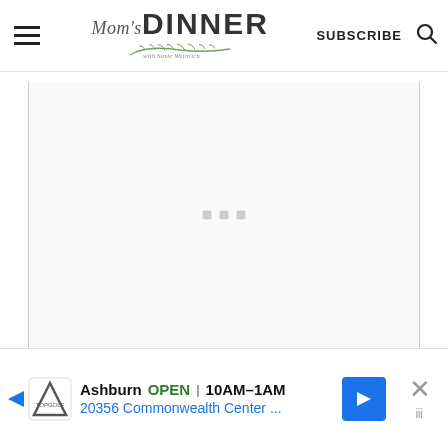[Figure (logo): Mom's Dinner with Susie Weinrich logo - script and sans-serif typography with decorative herb branch]
SUBSCRIBE
[Figure (other): Search icon (magnifying glass)]
[Figure (other): Loading placeholder area with three gray squares (dots) in the center of the content region]
Notes:
[Figure (other): Advertisement banner: Topgolf Ashburn OPEN 10AM-1AM, 20356 Commonwealth Center...]